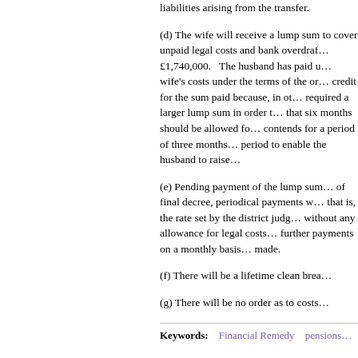liabilities arising from the transfer.
(d) The wife will receive a lump sum to cover unpaid legal costs and bank overdraft totalling £1,740,000.   The husband has paid up the wife's costs under the terms of the order. No credit for the sum paid because, in other words, required a larger lump sum in order to … that six months should be allowed fo… contends for a period of three months… period to enable the husband to raise…
(e) Pending payment of the lump sum… of final decree, periodical payments w… that is, the rate set by the district judg… without any allowance for legal costs… further payments on a monthly basis… made.
(f) There will be a lifetime clean brea…
(g) There will be no order as to costs…
Keywords:   Financial Remedy   pensions…